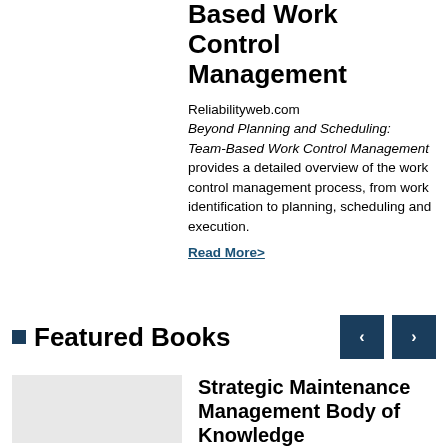Based Work Control Management
Reliabilityweb.com Beyond Planning and Scheduling: Team-Based Work Control Management provides a detailed overview of the work control management process, from work identification to planning, scheduling and execution.
Read More>
Featured Books
Strategic Maintenance Management Body of Knowledge